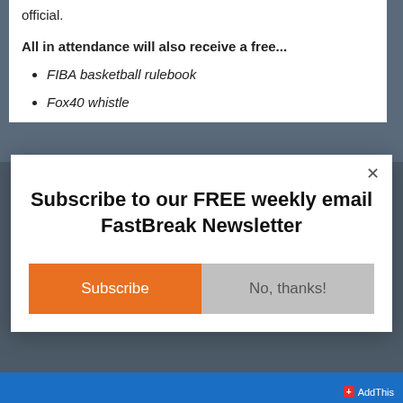official.
All in attendance will also receive a free...
FIBA basketball rulebook
Fox40 whistle
Subscribe to our FREE weekly email FastBreak Newsletter
Subscribe
No, thanks!